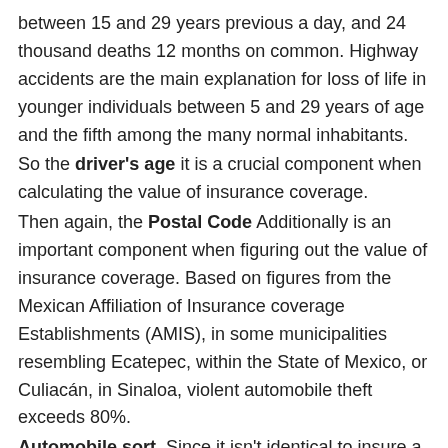between 15 and 29 years previous a day, and 24 thousand deaths 12 months on common. Highway accidents are the main explanation for loss of life in younger individuals between 5 and 29 years of age and the fifth among the many normal inhabitants.
So the driver's age it is a crucial component when calculating the value of insurance coverage.
Then again, the Postal Code Additionally is an important component when figuring out the value of insurance coverage. Based on figures from the Mexican Affiliation of Insurance coverage Establishments (AMIS), in some municipalities resembling Ecatepec, within the State of Mexico, or Culiacán, in Sinaloa, violent automobile theft exceeds 80%.
Automobile sort. Since it isn't identical to insure a Mercedes Benz to a Nissan, insurers take note of the kind of automobile they'll insure, as this determines the price of repairs and the convenience of acquiring auto elements.